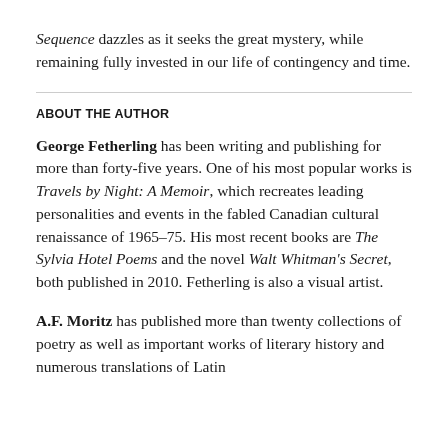Sequence dazzles as it seeks the great mystery, while remaining fully invested in our life of contingency and time.
ABOUT THE AUTHOR
George Fetherling has been writing and publishing for more than forty-five years. One of his most popular works is Travels by Night: A Memoir, which recreates leading personalities and events in the fabled Canadian cultural renaissance of 1965–75. His most recent books are The Sylvia Hotel Poems and the novel Walt Whitman's Secret, both published in 2010. Fetherling is also a visual artist.
A.F. Moritz has published more than twenty collections of poetry as well as important works of literary history and numerous translations of Latin